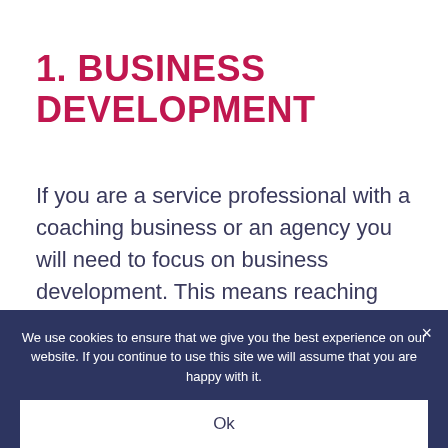1. BUSINESS DEVELOPMENT
If you are a service professional with a coaching business or an agency you will need to focus on business development. This means reaching out to people, building a strong network so that you can build business, and awareness. Business development
We use cookies to ensure that we give you the best experience on our website. If you continue to use this site we will assume that you are happy with it.
Ok